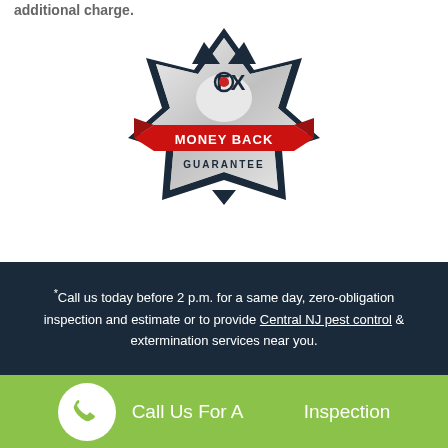additional charge.
[Figure (logo): Fox Pest Control Money Back Guarantee badge — dark navy star shield shape with silver gradient, 'FOX' text at top with a fox icon, red ribbon banner reading 'MONEY BACK' in white bold caps, 'GUARANTEE' text below in dark navy on white.]
*Call us today before 2 p.m. for a same day, zero-obligation inspection and estimate or to provide Central NJ pest control & extermination services near you.
Call Us For A FREE Inspection